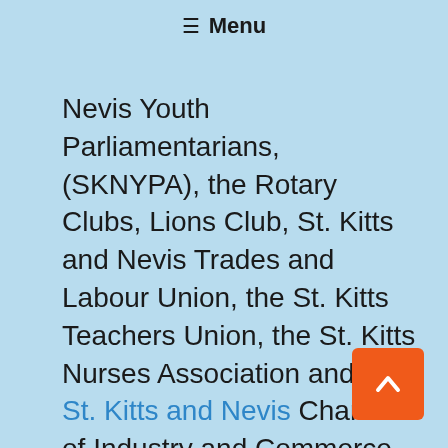≡ Menu
Nevis Youth Parliamentarians, (SKNYPA), the Rotary Clubs, Lions Club, St. Kitts and Nevis Trades and Labour Union, the St. Kitts Teachers Union, the St. Kitts Nurses Association and the St. Kitts and Nevis Chamber of Industry and Commerce as well as leaders of political parties attending the consultation.
[Figure (other): Orange back-to-top button with upward chevron arrow in bottom-right corner]